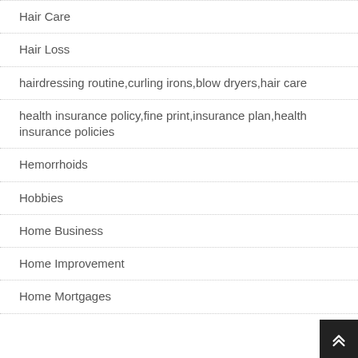Hair Care
Hair Loss
hairdressing routine,curling irons,blow dryers,hair care
health insurance policy,fine print,insurance plan,health insurance policies
Hemorrhoids
Hobbies
Home Business
Home Improvement
Home Mortgages